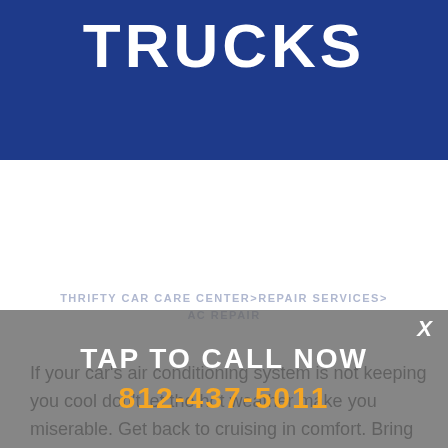TRUCKS
THRIFTY CAR CARE CENTER>REPAIR SERVICES>AC REPAIR
If your car's air conditioning system is not keeping you cool don't let the hot weather make you miserable. Get back to cruising in comfort. Bring your car or truck to our auto care center in Evansville and we'll get your AC working again. Call now at 812-437-5011 or stop by the shop at 4500
TAP TO CALL NOW
812-437-5011